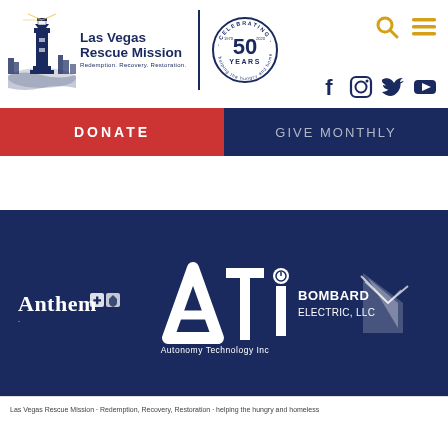[Figure (logo): Las Vegas Rescue Mission logo with lighthouse and Las Vegas skyline, tagline: Redemption. Recovery. Restoration., and a 50 Years Celebrating stamp badge]
[Figure (logo): Social media icons: Facebook, Instagram, Twitter, YouTube; and navigation icons: search and hamburger menu]
DONATE
GIVE MONTHLY
[Figure (logo): Sponsor logos on dark navy background: Anthem Blue Cross Blue Shield, ATi Autonomy Technology Inc, Bombard Electric LLC]